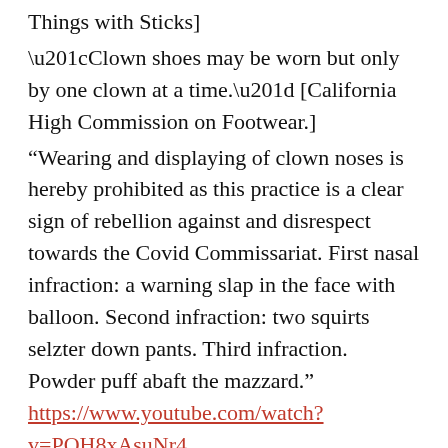Things with Sticks]
“Clown shoes may be worn but only by one clown at a time.” [California High Commission on Footwear.]
“Wearing and displaying of clown noses is hereby prohibited as this practice is a clear sign of rebellion against and disrespect towards the Covid Commissariat. First nasal infraction: a warning slap in the face with balloon. Second infraction: two squirts selzter down pants. Third infraction. Powder puff abaft the mazzard.” https://www.youtube.com/watch?v=POH8xAsuNr4
“There will be no shaving of underarm or leg hair until further notice.” [California Board of Fuzz].
“Zoot suits are strictly prohibited, as are the phrases, Hi De Hi De Ho, Hat cha cha, The cat’s pajamas, and Your Mudder’s mustache.